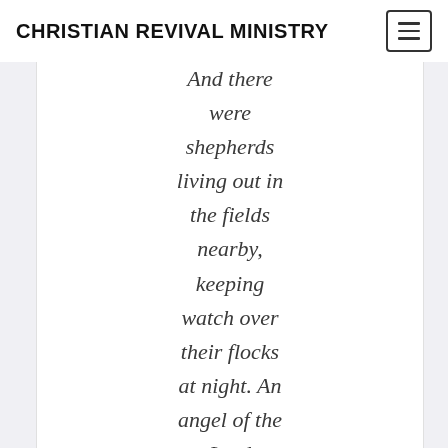CHRISTIAN REVIVAL MINISTRY
And there were shepherds living out in the fields nearby, keeping watch over their flocks at night. An angel of the Lord appeared to them, and the glory of